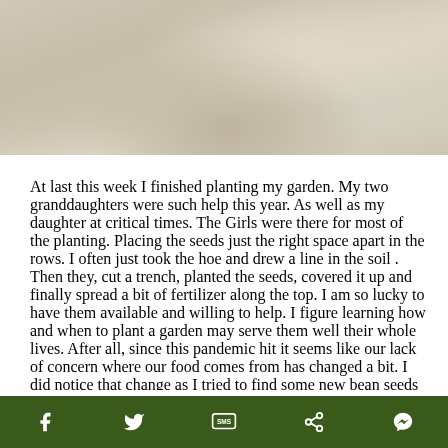[Figure (photo): Photograph of garden soil/ground, light beige and taupe tones showing tilled earth]
At last this week I finished planting my garden. My two granddaughters were such help this year. As well as my daughter at critical times. The Girls were there for most of the planting. Placing the seeds just the right space apart in the rows. I often just took the hoe and drew a line in the soil . Then they, cut a trench, planted the seeds, covered it up and finally spread a bit of fertilizer along the top. I am so lucky to have them available and willing to help. I figure learning how and when to plant a garden may serve them well their whole lives. After all, since this pandemic hit it seems like our lack of concern where our food comes from has changed a bit. I did notice that change as I tried to find some new bean seeds this week. Well forget it. The seeds are
Social share bar with Facebook, Twitter, SMS, Share, and Messenger icons